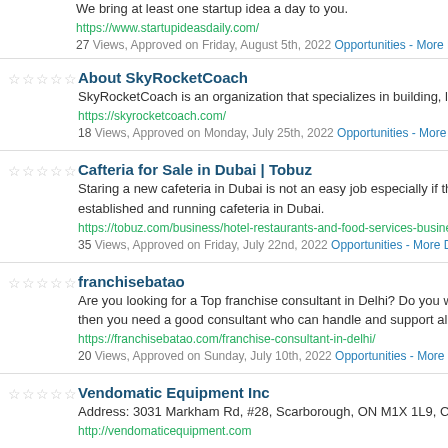We bring at least one startup idea a day to you.
https://www.startupideasdaily.com/
27 Views, Approved on Friday, August 5th, 2022 Opportunities - More Deta...
About SkyRocketCoach
SkyRocketCoach is an organization that specializes in building, laun...
https://skyrocketcoach.com/
18 Views, Approved on Monday, July 25th, 2022 Opportunities - More Deta...
Cafteria for Sale in Dubai | Tobuz
Staring a new cafeteria in Dubai is not an easy job especially if there... established and running cafeteria in Dubai.
https://tobuz.com/business/hotel-restaurants-and-food-services-business-f...
35 Views, Approved on Friday, July 22nd, 2022 Opportunities - More Deta...
franchisebatao
Are you looking for a Top franchise consultant in Delhi? Do you want... then you need a good consultant who can handle and support all th...
https://franchisebatao.com/franchise-consultant-in-delhi/
20 Views, Approved on Sunday, July 10th, 2022 Opportunities - More Deta...
Vendomatic Equipment Inc
Address: 3031 Markham Rd, #28, Scarborough, ON M1X 1L9, CAN...
http://vendomaticequipment.com